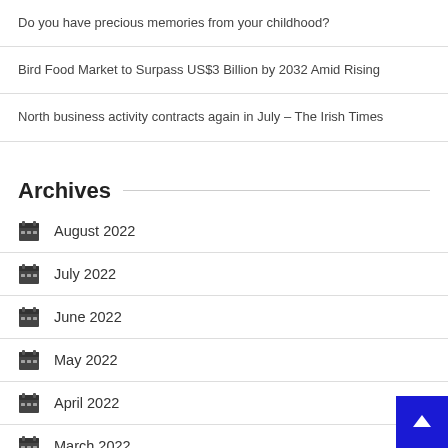Do you have precious memories from your childhood?
Bird Food Market to Surpass US$3 Billion by 2032 Amid Rising
North business activity contracts again in July – The Irish Times
Archives
August 2022
July 2022
June 2022
May 2022
April 2022
March 2022
February 2022